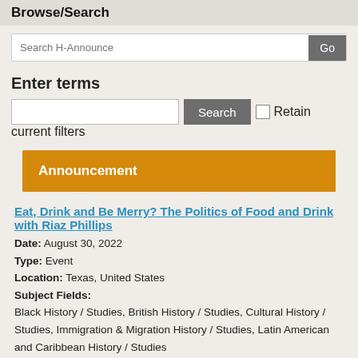Browse/Search
Search H-Announce
Enter terms
Search  Retain current filters
Announcement
Eat, Drink and Be Merry? The Politics of Food and Drink with Riaz Phillips
Date: August 30, 2022
Type: Event
Location: Texas, United States
Subject Fields:
Black History / Studies, British History / Studies, Cultural History / Studies, Immigration & Migration History / Studies, Latin American and Caribbean History / Studies